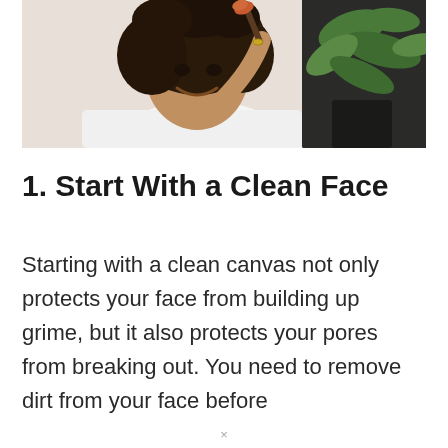[Figure (photo): A smiling woman with curly hair applying makeup with a brush, wearing a white robe, with green plants in the background.]
1. Start With a Clean Face
Starting with a clean canvas not only protects your face from building up grime, but it also protects your pores from breaking out. You need to remove dirt from your face before applying your foundation...